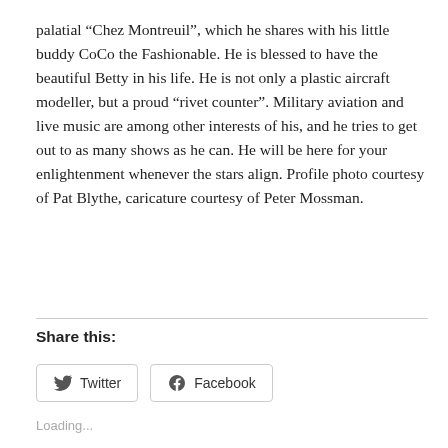palatial “Chez Montreuil”, which he shares with his little buddy CoCo the Fashionable. He is blessed to have the beautiful Betty in his life. He is not only a plastic aircraft modeller, but a proud “rivet counter”. Military aviation and live music are among other interests of his, and he tries to get out to as many shows as he can. He will be here for your enlightenment whenever the stars align. Profile photo courtesy of Pat Blythe, caricature courtesy of Peter Mossman.
Share this:
Twitter
Facebook
Loading...